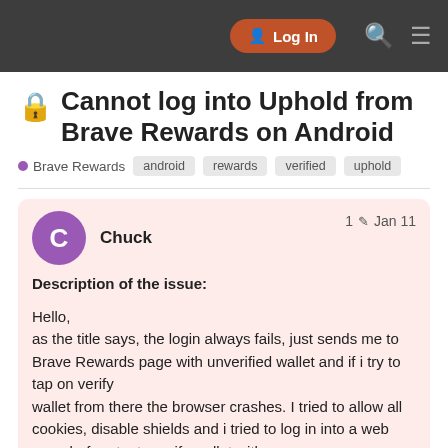Log In
Cannot log into Uphold from Brave Rewards on Android
Brave Rewards  android  rewards  verified  uphold
Chuck  1  Jan 11
Description of the issue:

Hello,
as the title says, the login always fails, just sends me to Brave Rewards page with unverified wallet and if i try to tap on verify
wallet from there the browser crashes. I tried to allow all cookies, disable shields and i tried to log in into a web page before try to verify wallet with n
ideas? Maybe does this because I ren
1 / 3